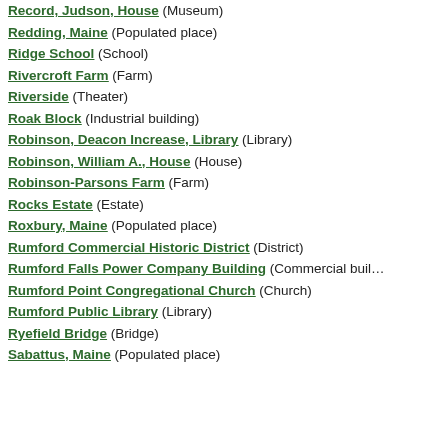Record, Judson, House (Museum)
Redding, Maine (Populated place)
Ridge School (School)
Rivercroft Farm (Farm)
Riverside (Theater)
Roak Block (Industrial building)
Robinson, Deacon Increase, Library (Library)
Robinson, William A., House (House)
Robinson-Parsons Farm (Farm)
Rocks Estate (Estate)
Roxbury, Maine (Populated place)
Rumford Commercial Historic District (District)
Rumford Falls Power Company Building (Commercial building)
Rumford Point Congregational Church (Church)
Rumford Public Library (Library)
Ryefield Bridge (Bridge)
Sabattus, Maine (Populated place)